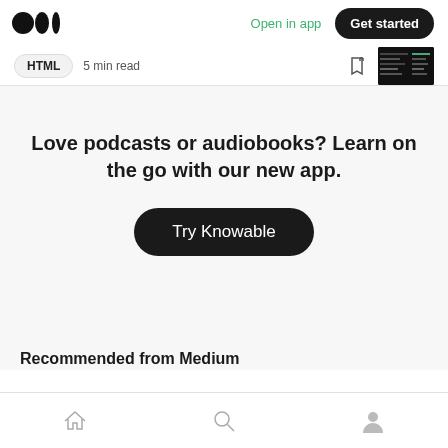Medium logo | Open in app | Get started
HTML  5 min read
Love podcasts or audiobooks? Learn on the go with our new app.
Try Knowable
Recommended from Medium
Home | Search | Profile